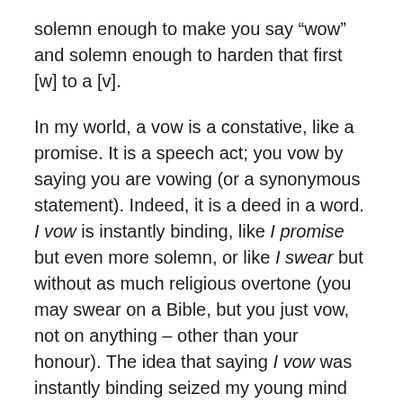solemn enough to make you say “wow” and solemn enough to harden that first [w] to a [v].
In my world, a vow is a constative, like a promise. It is a speech act; you vow by saying you are vowing (or a synonymous statement). Indeed, it is a deed in a word. I vow is instantly binding, like I promise but even more solemn, or like I swear but without as much religious overtone (you may swear on a Bible, but you just vow, not on anything – other than your honour). The idea that saying I vow was instantly binding seized my young mind for a time; easing myself into a hotel-roof hot tub in Honolulu at age 12, I thought – before I could stop myself – “I vow to stay in this pool for 20 minutes.” And that was that: I had bound myself to it. If I were to get out even at 19 minutes and 48 seconds, I would be that worst of creatures, an oath-breaker. I was pretty heated up by the